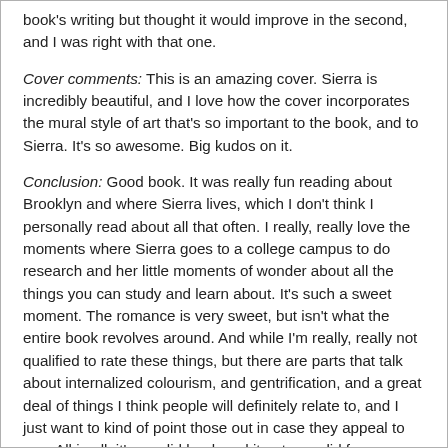book's writing but thought it would improve in the second, and I was right with that one.
Cover comments: This is an amazing cover. Sierra is incredibly beautiful, and I love how the cover incorporates the mural style of art that's so important to the book, and to Sierra. It's so awesome. Big kudos on it.
Conclusion: Good book. It was really fun reading about Brooklyn and where Sierra lives, which I don't think I personally read about all that often. I really, really love the moments where Sierra goes to a college campus to do research and her little moments of wonder about all the things you can study and learn about. It's such a sweet moment. The romance is very sweet, but isn't what the entire book revolves around. And while I'm really, really not qualified to rate these things, but there are parts that talk about internalized colourism, and gentrification, and a great deal of things I think people will definitely relate to, and I just want to kind of point those out in case they appeal to you. All in all, it's a solid book and it gets a solid four roses.